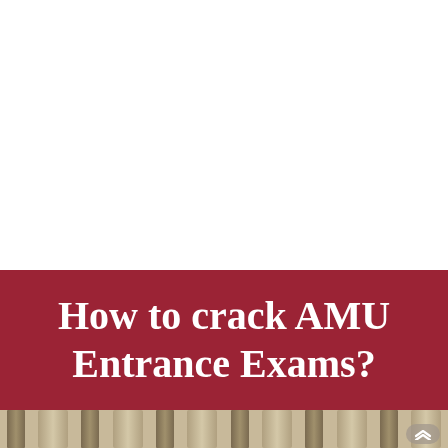How to crack AMU Entrance Exams?
[Figure (photo): Bottom strip showing the interior of a building with arched columns and pillars, likely a university hall or examination hall.]